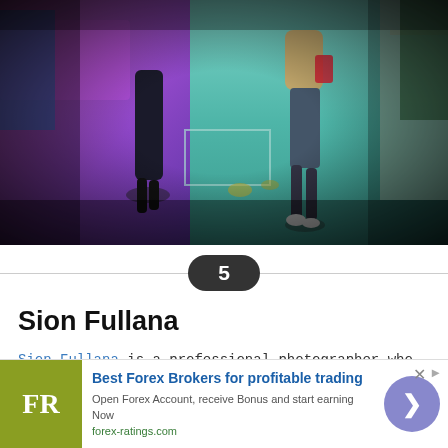[Figure (photo): Street photography scene shot from above showing pedestrians walking on a teal-colored sidewalk, with a pink/purple car visible on the left side. Vintage/lomography style with heavy vignetting. Two people visible, one on left wearing dark clothing and boots, one on right wearing a fur-collared jacket and leggings.]
5
Sion Fullana
Sion Fullana is a professional photographer who considers himself a leader in the field of iPhoneography. His appearances/workshops
[Figure (infographic): Advertisement banner for forex-ratings.com. Shows 'FR' logo in olive/yellow-green square, text 'Best Forex Brokers for profitable trading', 'Open Forex Account, receive Bonus and start earning Now', 'forex-ratings.com', and a blue circle arrow button on the right.]